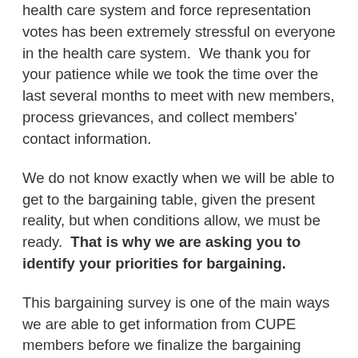health care system and force representation votes has been extremely stressful on everyone in the health care system.  We thank you for your patience while we took the time over the last several months to meet with new members, process grievances, and collect members' contact information.
We do not know exactly when we will be able to get to the bargaining table, given the present reality, but when conditions allow, we must be ready.  That is why we are asking you to identify your priorities for bargaining.
This bargaining survey is one of the main ways we are able to get information from CUPE members before we finalize the bargaining proposals.
We would like your input on this matter...